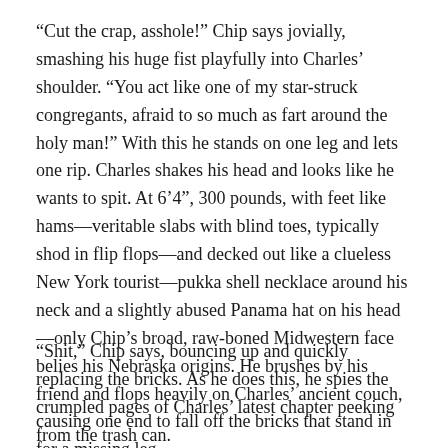“Cut the crap, asshole!” Chip says jovially, smashing his huge fist playfully into Charles’ shoulder. “You act like one of my star-struck congregants, afraid to so much as fart around the holy man!” With this he stands on one leg and lets one rip. Charles shakes his head and looks like he wants to spit. At 6’4”, 300 pounds, with feet like hams—veritable slabs with blind toes, typically shod in flip flops—and decked out like a clueless New York tourist—pukka shell necklace around his neck and a slightly abused Panama hat on his head—only Chip’s broad, raw-boned Midwestern face belies his Nebraska origins. He brushes by his friend and flops heavily on Charles’ ancient couch, causing one end to fall off the bricks that stand in for a missing leg.
“Shit,” Chip says, bouncing up and quickly replacing the bricks. As he does this, he spies the crumpled pages of Charles’ latest chapter peeking from the trash can.